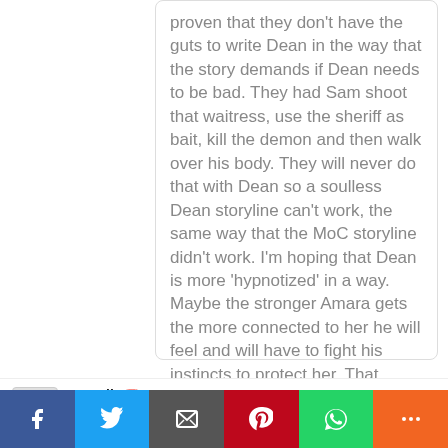proven that they don't have the guts to write Dean in the way that the story demands if Dean needs to be bad. They had Sam shoot that waitress, use the sheriff as bait, kill the demon and then walk over his body. They will never do that with Dean so a soulless Dean storyline can't work, the same way that the MoC storyline didn't work. I'm hoping that Dean is more 'hypnotized' in a way. Maybe the stronger Amara gets the more connected to her he will feel and will have to fight his instincts to protect her. That would be interesting and something we haven't seen yet.
# spnlit 2015-11-05 09:39 Zoh Well done by Me. Ye...
[Figure (other): Social share bar with Facebook, Twitter, Email, Pinterest, WhatsApp, and More buttons]